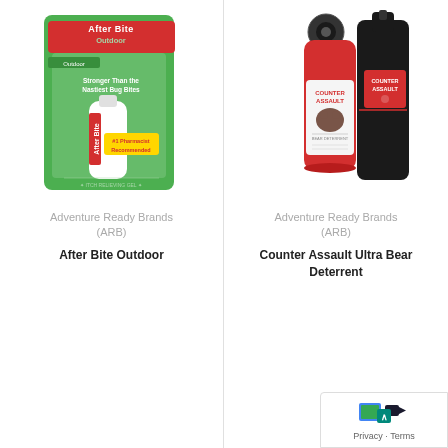[Figure (photo): After Bite Outdoor insect bite treatment product in green packaging with tube]
Adventure Ready Brands (ARB)
After Bite Outdoor
[Figure (photo): Counter Assault Ultra Bear Deterrent spray canister with black holster]
Adventure Ready Brands (ARB)
Counter Assault Ultra Bear Deterrent